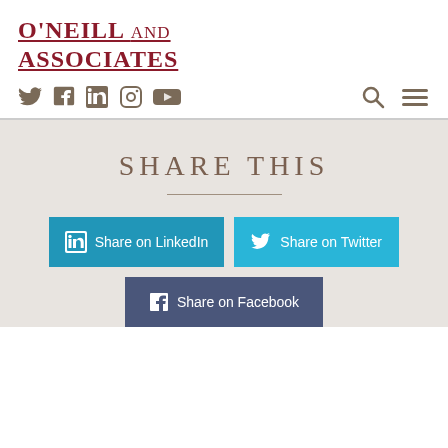O'Neill and Associates
[Figure (infographic): Social media icons row: Twitter, Facebook, LinkedIn, Instagram, YouTube; plus search and hamburger menu icons on the right]
Share This
Share on LinkedIn
Share on Twitter
Share on Facebook